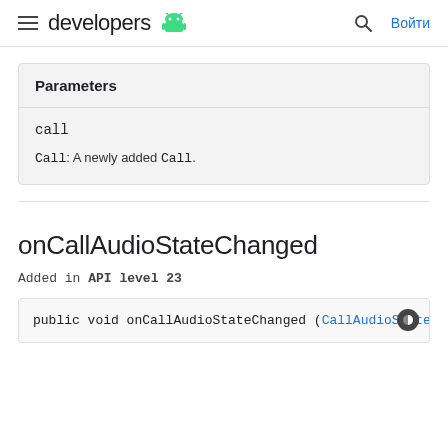developers [android logo] | [search] Войти
| Parameters |
| --- |
| call |
| Call: A newly added Call. |
onCallAudioStateChanged
Added in API level 23
public void onCallAudioStateChanged (CallAudioState